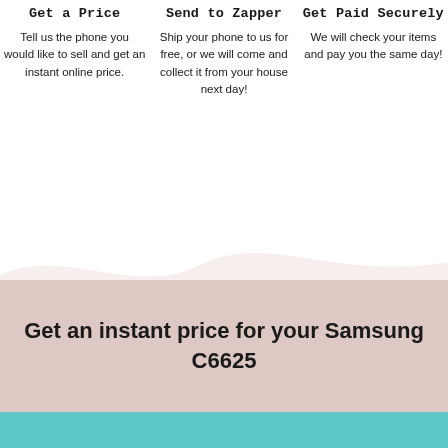Get a Price
Tell us the phone you would like to sell and get an instant online price.
Send to Zapper
Ship your phone to us for free, or we will come and collect it from your house next day!
Get Paid Securely
We will check your items and pay you the same day!
[Figure (illustration): Decorative wavy background with layered pink/dusty rose wave shapes on white background]
Get an instant price for your Samsung C6625